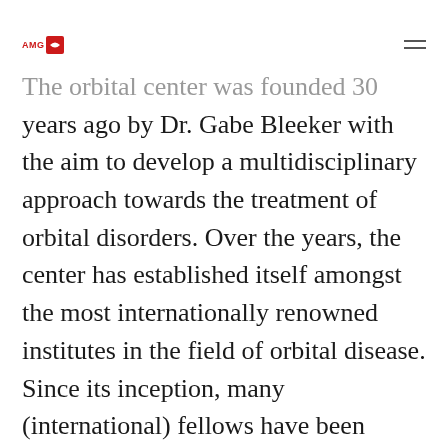AMG logo and hamburger menu
The orbital center was founded 30 years ago by Dr. Gabe Bleeker with the aim to develop a multidisciplinary approach towards the treatment of orbital disorders. Over the years, the center has established itself amongst the most internationally renowned institutes in the field of orbital disease. Since its inception, many (international) fellows have been trained in our center.